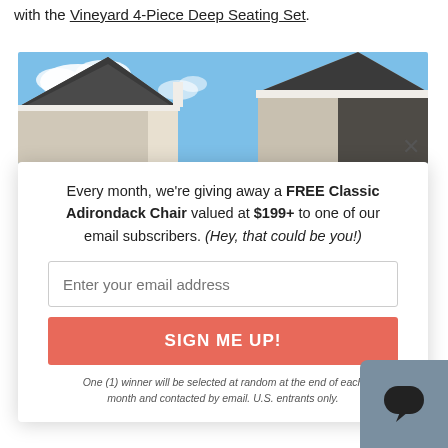with the Vineyard 4-Piece Deep Seating Set.
[Figure (photo): Exterior photo of a house roofline and gables against a blue sky with white clouds]
×
Every month, we're giving away a FREE Classic Adirondack Chair valued at $199+ to one of our email subscribers. (Hey, that could be you!)
Enter your email address
SIGN ME UP!
One (1) winner will be selected at random at the end of each month and contacted by email. U.S. entrants only.
[Figure (other): Chat widget button with speech bubble icon on gray-blue background]